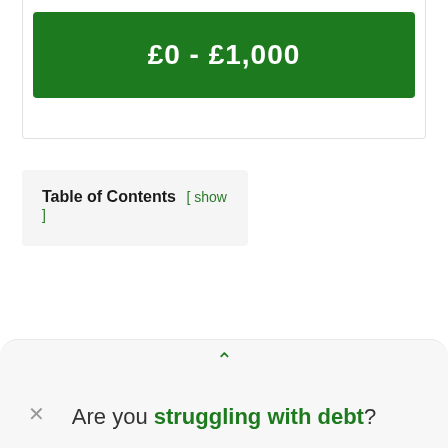[Figure (other): Green button showing £0 - £1,000 loan amount range]
Table of Contents [ show ]
Are you struggling with debt?